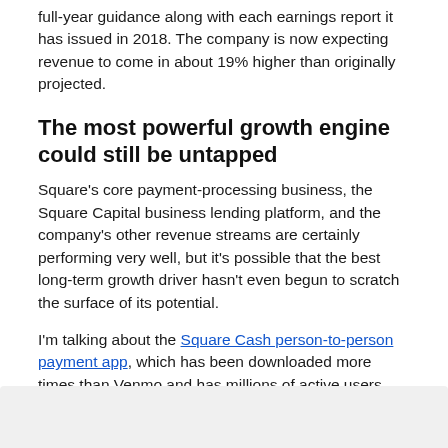full-year guidance along with each earnings report it has issued in 2018. The company is now expecting revenue to come in about 19% higher than originally projected.
The most powerful growth engine could still be untapped
Square's core payment-processing business, the Square Capital business lending platform, and the company's other revenue streams are certainly performing very well, but it's possible that the best long-term growth driver hasn't even begun to scratch the surface of its potential.
I'm talking about the Square Cash person-to-person payment app, which has been downloaded more times than Venmo and has millions of active users.
[Figure (other): Gray box at bottom of page, partially visible content area]